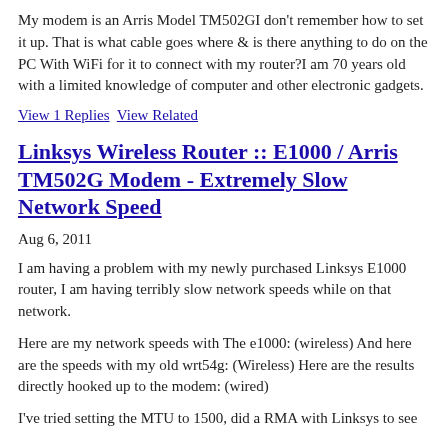My modem is an Arris Model TM502GI don't remember how to set it up. That is what cable goes where & is there anything to do on the PC With WiFi for it to connect with my router?I am 70 years old with a limited knowledge of computer and other electronic gadgets.
View 1 Replies   View Related
Linksys Wireless Router :: E1000 / Arris TM502G Modem - Extremely Slow Network Speed
Aug 6, 2011
I am having a problem with my newly purchased Linksys E1000 router, I am having terribly slow network speeds while on that network.
Here are my network speeds with The e1000: (wireless) And here are the speeds with my old wrt54g: (Wireless) Here are the results directly hooked up to the modem: (wired)
I've tried setting the MTU to 1500, did a RMA with Linksys to see